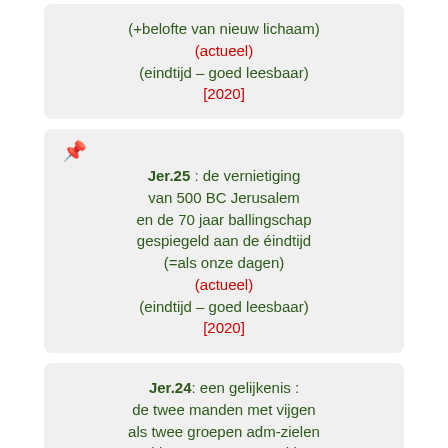(+belofte van nieuw lichaam)
(actueel)
(eindtijd – goed leesbaar)
[2020]
Jer.25 : de vernietiging van 500 BC Jerusalem en de 70 jaar ballingschap gespiegeld aan de éindtijd (=als onze dagen)
(actueel)
(eindtijd – goed leesbaar)
[2020]
Jer.24: een gelijkenis : de twee manden met vijgen als twee groepen adm-zielen (de 144,000 en Jacob)